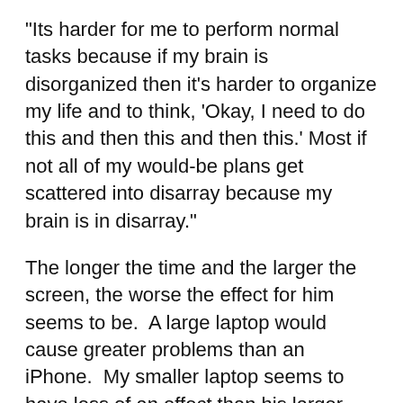"Its harder for me to perform normal tasks because if my brain is disorganized then it's harder to organize my life and to think, 'Okay, I need to do this and then this and then this.' Most if not all of my would-be plans get scattered into disarray because my brain is in disarray."
The longer the time and the larger the screen, the worse the effect for him seems to be.  A large laptop would cause greater problems than an iPhone.  My smaller laptop seems to have less of an effect than his larger one.
So the effect can be worse with a larger screen such as one from a laptop or from a large-screen TV.  Now I know what my parents were talking about years ago when they told me not to sit to a close to...